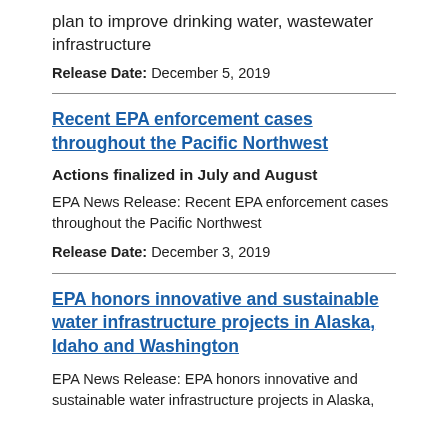plan to improve drinking water, wastewater infrastructure
Release Date: December 5, 2019
Recent EPA enforcement cases throughout the Pacific Northwest
Actions finalized in July and August
EPA News Release: Recent EPA enforcement cases throughout the Pacific Northwest
Release Date: December 3, 2019
EPA honors innovative and sustainable water infrastructure projects in Alaska, Idaho and Washington
EPA News Release: EPA honors innovative and sustainable water infrastructure projects in Alaska,